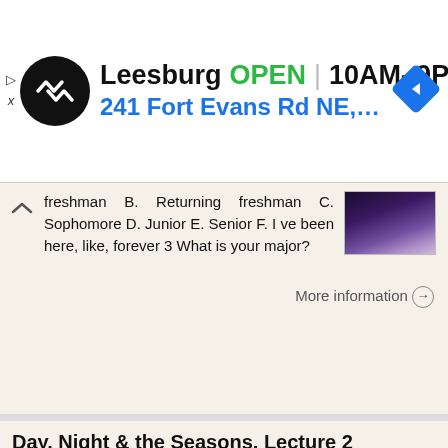[Figure (screenshot): Ad banner for Leesburg store showing logo, OPEN status, hours 10AM-9PM, address 241 Fort Evans Rd NE, Leesb, and navigation arrow icon]
freshman B. Returning freshman C. Sophomore D. Junior E. Senior F. I ve been here, like, forever 3 What is your major?
More information →
Day, Night & the Seasons. Lecture 2 1/21/2014
Day, Night & the Seasons Lecture 2 1/21/2014 Logistics The following students see me after class: A. Gonzalez, Chen Anyone who was not here on first day see me after class Pin Numbers - if you have not
More information →